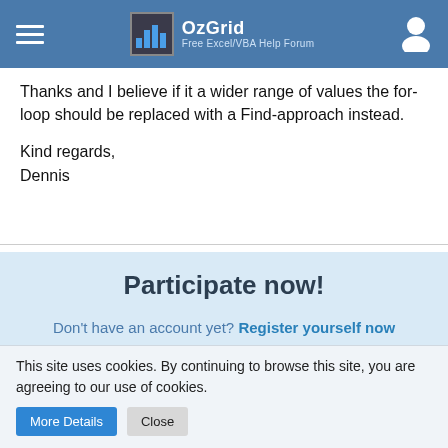OzGrid — Free Excel/VBA Help Forum
Thanks and I believe if it a wider range of values the for-loop should be replaced with a Find-approach instead.
Kind regards,
Dennis
Participate now!
Don't have an account yet? Register yourself now and be a part of our community!
This site uses cookies. By continuing to browse this site, you are agreeing to our use of cookies.